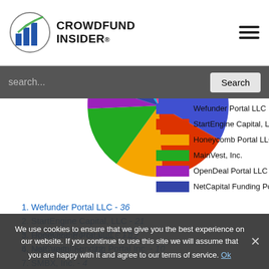CROWDFUND INSIDER
[Figure (pie-chart): Crowdfunding portals market share by number of offerings]
Wefunder Portal LLC - 36
StartEngine Capital, LLC - 21
Honeycomb Portal LLC - 12
MainVest, Inc. - 12
OpenDeal Portal LLC - 11
NetCapital Funding Portal Inc. - 10
SMBX, Inc. - 4
truCrowd, Inc - 4